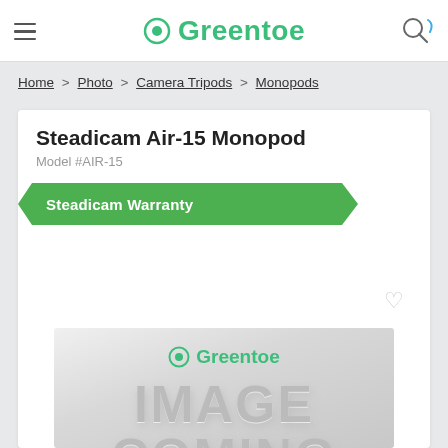Greentoe
Home > Photo > Camera Tripods > Monopods
Steadicam Air-15 Monopod
Model #AIR-15
Steadicam Warranty
[Figure (illustration): Product placeholder image showing Greentoe logo and 'IMAGE COMING' text on a gray gradient background]